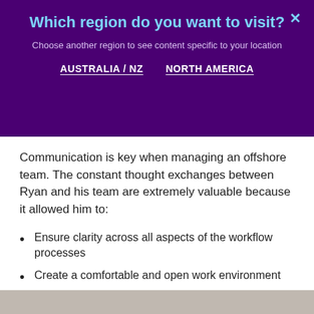Which region do you want to visit?
Choose another region to see content specific to your location
AUSTRALIA / NZ   NORTH AMERICA
Communication is key when managing an offshore team. The constant thought exchanges between Ryan and his team are extremely valuable because it allowed him to:
Ensure clarity across all aspects of the workflow processes
Create a comfortable and open work environment
Build strong relationships with all team members
Solve problems and address issues much quicker
Increase accountability among team members